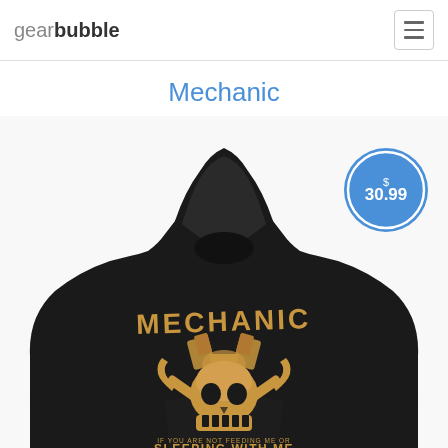gearbubble
Mechanic
[Figure (photo): Black hoodie with mechanic-themed graphic design featuring a skull with engine pistons and text reading MECHANIC / IF YOU ARE NOT FEEDING ME OR SLEEPING WITH ME OR CALLING ME DAD YOU ARE PAYING ME]
$ 30.99